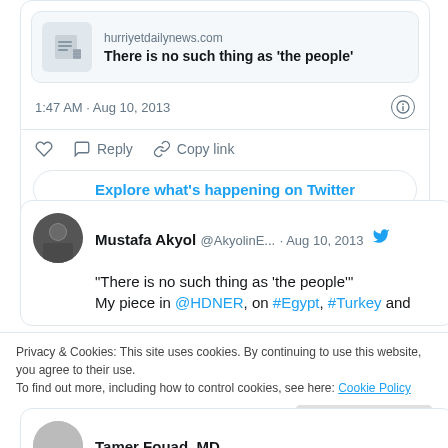[Figure (screenshot): Link preview card showing hurriyetdailynews.com with article title 'There is no such thing as the people']
1:47 AM · Aug 10, 2013
Reply   Copy link
Explore what's happening on Twitter
Mustafa Akyol @AkyolinE... · Aug 10, 2013
"There is no such thing as 'the people'" My piece in @HDNER, on #Egypt, #Turkey and
Privacy & Cookies: This site uses cookies. By continuing to use this website, you agree to their use. To find out more, including how to control cookies, see here: Cookie Policy
Close and accept
Tamer Fouad, MD